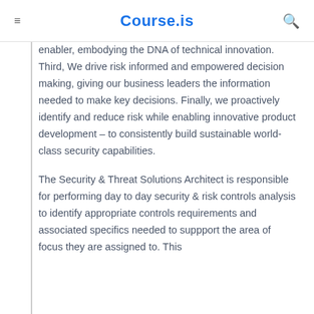Course.is
enabler, embodying the DNA of technical innovation. Third, We drive risk informed and empowered decision making, giving our business leaders the information needed to make key decisions. Finally, we proactively identify and reduce risk while enabling innovative product development – to consistently build sustainable world-class security capabilities.
The Security & Threat Solutions Architect is responsible for performing day to day security & risk controls analysis to identify appropriate controls requirements and associated specifics needed to suppport the area of focus they are assigned to. This